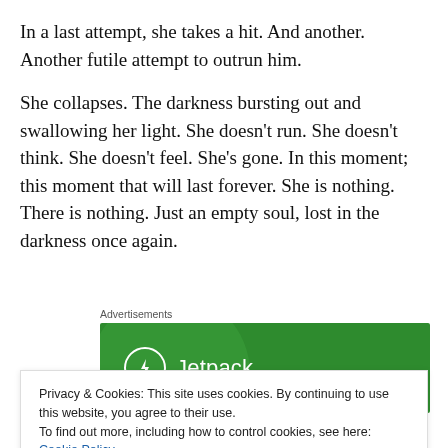In a last attempt, she takes a hit. And another. Another futile attempt to outrun him.
She collapses. The darkness bursting out and swallowing her light. She doesn’t run. She doesn’t think. She doesn’t feel. She’s gone. In this moment; this moment that will last forever. She is nothing. There is nothing. Just an empty soul, lost in the darkness once again.
Advertisements
[Figure (logo): Jetpack advertisement banner with green background, circular logo icon with lightning bolt, and 'Jetpack' text in white]
Privacy & Cookies: This site uses cookies. By continuing to use this website, you agree to their use.
To find out more, including how to control cookies, see here: Cookie Policy
Close and accept